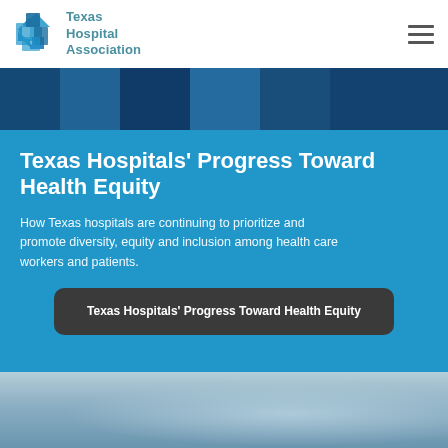Texas Hospital Association
[Figure (photo): Hero photo strip showing healthcare workers in blue tones]
Texas Hospitals’ Progress Toward Health Equity
How Texas hospitals are continuing to prioritize and promote diversity, equity and inclusion among health care workers and patients.
Texas Hospitals’ Progress Toward Health Equity
[Figure (photo): Healthcare worker wearing surgical scrubs and hair net, looking upward]